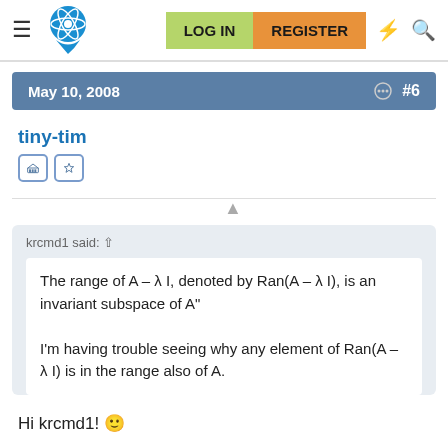LOG IN  REGISTER
May 10, 2008  #6
tiny-tim
krcmd1 said: ↑

The range of A – λ I, denoted by Ran(A – λ I), is an invariant subspace of A"

I'm having trouble seeing why any element of Ran(A – λ I) is in the range also of A.
Hi krcmd1! 🙂